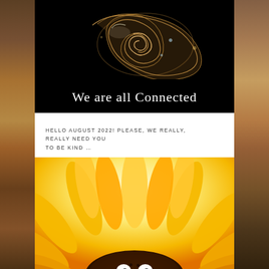[Figure (photo): Nautilus shell on black background with text 'We are all Connected' in white serif font below the shell]
HELLO AUGUST 2022! PLEASE, WE REALLY, REALLY NEED YOU TO BE KIND …
[Figure (photo): Large sunflower with bright yellow-orange petals against a light yellow background, cropped to show the top half of the flower with a dark center]